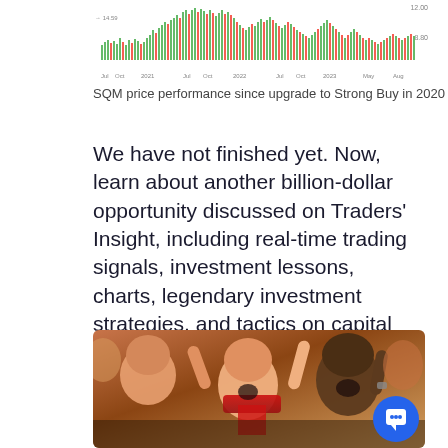[Figure (continuous-plot): Candlestick/bar chart showing SQM stock price performance from Jul 2021 to Aug 2023, with green and red bars. Right y-axis shows values around 8.80 and 12.00. X-axis shows Jul, Oct, 2021, Jul, Oct, 2022, Jul, Oct, 2023, May, Aug.]
SQM price performance since upgrade to Strong Buy in 2020
We have not finished yet. Now, learn about another billion-dollar opportunity discussed on Traders' Insight, including real-time trading signals, investment lessons,  charts, legendary investment strategies, and tactics on capital rotation.
[Figure (photo): Photo of excited diverse group of people cheering, some wearing red scarves, with mouths open and arms raised in celebration.]